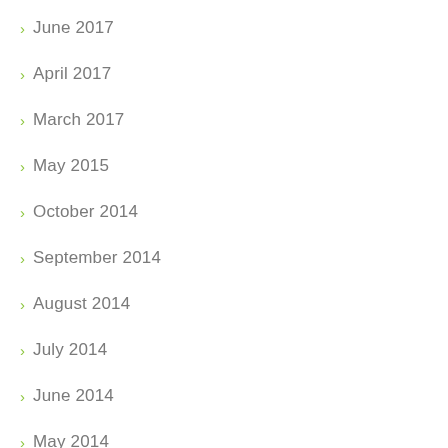June 2017
April 2017
March 2017
May 2015
October 2014
September 2014
August 2014
July 2014
June 2014
May 2014